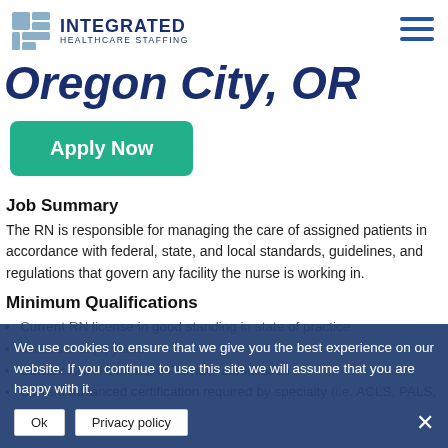INTEGRATED HEALTHCARE STAFFING
Oregon City, OR
Apply Now
Job Summary
The RN is responsible for managing the care of assigned patients in accordance with federal, state, and local standards, guidelines, and regulations that govern any facility the nurse is working in.
Minimum Qualifications
Current RN license in good standing in state of practice
Minimum of [x] years experience
Current AHA Healthcare Provider certification
Current advanced certification required by specialty (i.e. ACLS, PALS, etc.)